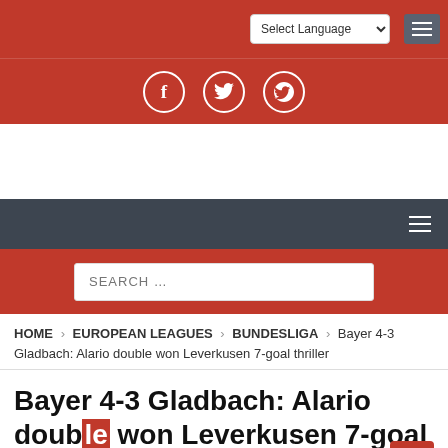Select Language [dropdown] [menu]
[Figure (other): Red social bar with Facebook, Twitter, Reddit icons]
HOME > EUROPEAN LEAGUES > BUNDESLIGA > Bayer 4-3 Gladbach: Alario double won Leverkusen 7-goal thriller
Bayer 4-3 Gladbach: Alario double won Leverkusen 7-goal thriller